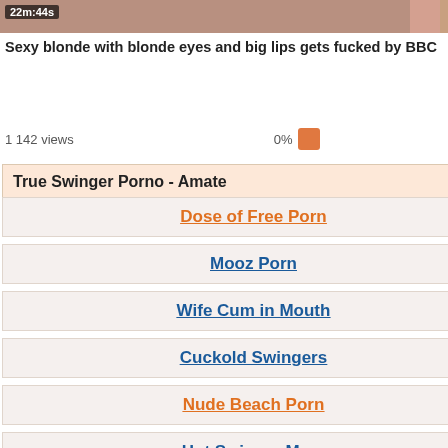[Figure (screenshot): Video thumbnail strip at top showing 22m:44s timer, partially cropped]
Sexy blonde with blonde eyes and big lips gets fucked by BBC
1 142 views   0%
Wo... sc... 284...
True Swinger Porno - Amate...
Dose of Free Porn
Mooz Porn
Wife Cum in Mouth
Cuckold Swingers
Nude Beach Porn
Hot Swinger Mom
Swingers Swap Wives
Wife First Time Anal
[Figure (screenshot): Bottom video thumbnail strip, partially cropped]